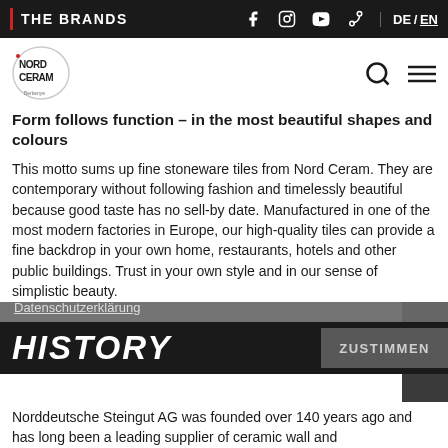THE BRANDS | DE / EN
[Figure (logo): Nord Ceram circular logo with text NORD CERAM Berkenye]
Form follows function – in the most beautiful shapes and colours
This motto sums up fine stoneware tiles from Nord Ceram. They are contemporary without following fashion and timelessly beautiful because good taste has no sell-by date. Manufactured in one of the most modern factories in Europe, our high-quality tiles can provide a fine backdrop in your own home, restaurants, hotels and other public buildings. Trust in your own style and in our sense of simplistic beauty.
fortfahren, erklären Sie sich mit der Verwendung von Cookies einverstanden.
Datenschutzerklärung
HISTORY
Norddeutsche Steingut AG was founded over 140 years ago and has long been a leading supplier of ceramic wall and